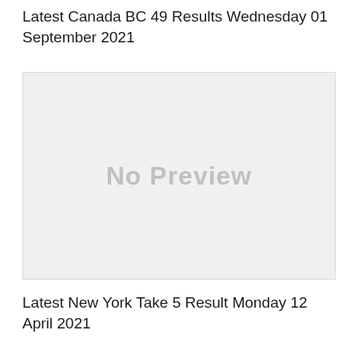Latest Canada BC 49 Results Wednesday 01 September 2021
[Figure (other): No Preview placeholder image with light gray background]
Latest New York Take 5 Result Monday 12 April 2021